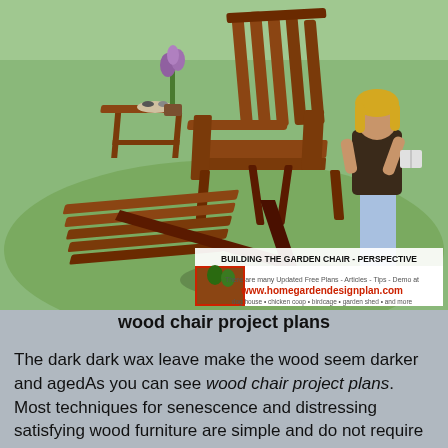[Figure (illustration): 3D rendered illustration of a wooden Adirondack garden chair with footrest and side table on grass. A cartoon woman stands nearby reading a book. Overlay text reads 'BUILDING THE GARDEN CHAIR - PERSPECTIVE' with a banner for www.homegardendesignplan.com]
wood chair project plans
The dark dark wax leave make the wood seem darker and agedAs you can see wood chair project plans. Most techniques for senescence and distressing satisfying wood furniture are simple and do not require much time